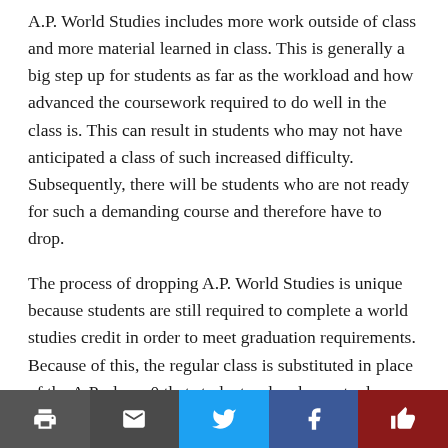A.P. World Studies includes more work outside of class and more material learned in class. This is generally a big step up for students as far as the workload and how advanced the coursework required to do well in the class is. This can result in students who may not have anticipated a class of such increased difficulty. Subsequently, there will be students who are not ready for such a demanding course and therefore have to drop.
The process of dropping A.P. World Studies is unique because students are still required to complete a world studies credit in order to meet graduation requirements. Because of this, the regular class is substituted in place of the A.P. class s0 that students who choose to drop are not behind schedule to graduate. Once those who chose to drop are placed int0 regular world studies, their grade earned in A.P. Wo...